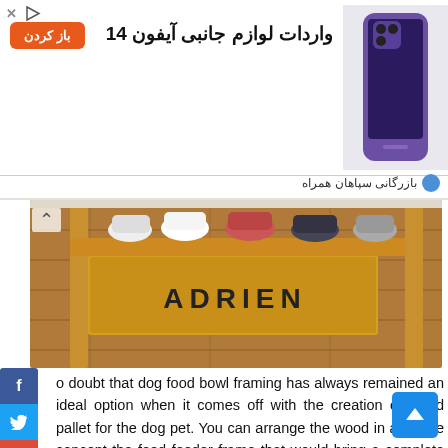[Figure (infographic): Advertisement banner for iPhone 14 accessories import, with Persian text, an orange button labeled 'باز کردن', and a purple iPhone image on the right, with brand name 'بازرگانی سپاهان همراه']
[Figure (photo): Wooden shoe rack/pallet shelf labeled ADRIEN with sneakers arranged on it, on a wooden floor background]
o doubt that dog food bowl framing has always remained an ideal option when it comes off with the creation of wood pallet for the dog pet. You can arrange the wood in a simple concept the food feeder frame that would bring a complete different look.